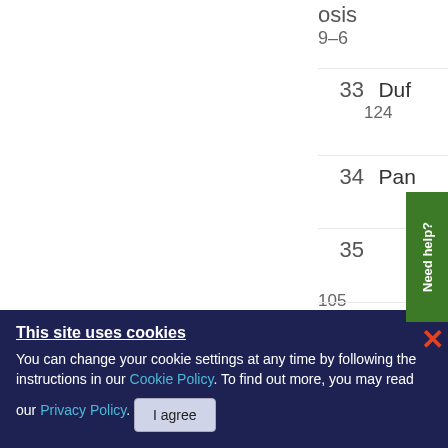osis
9-6
33  Duf
124
34  Pan
35
105
36  Jan
Need help?
This site uses cookies
You can change your cookie settings at any time by following the instructions in our Cookie Policy. To find out more, you may read our Privacy Policy.
I agree